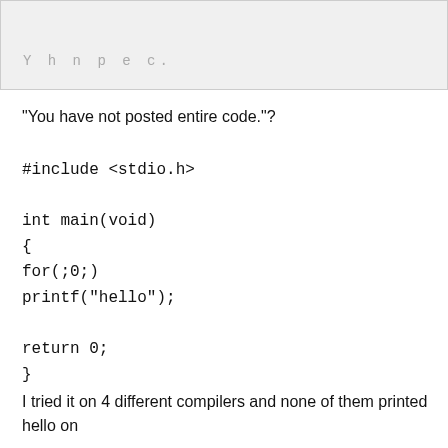[Figure (screenshot): Gray box with truncated Cyrillic/abbreviated text 'Y h n p e c.' visible at bottom]
"You have not posted entire code."?
#include <stdio.h>

int main(void)
{
for(;0;)
printf("hello");

return 0;
}
I tried it on 4 different compilers and none of them printed hello on